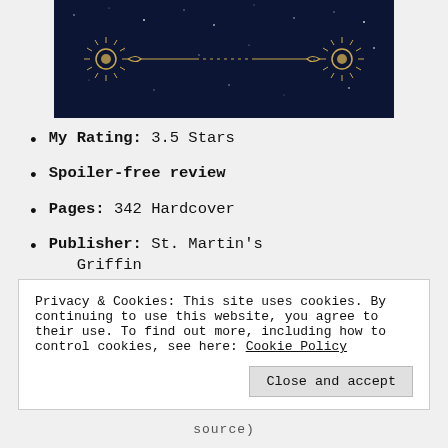[Figure (photo): Book cover image with dark blue/navy starry night sky background and gold Art Deco decorative elements including fan/sun ray designs on left and right sides connected by dotted lines]
My Rating: 3.5 Stars
Spoiler-free review
Pages: 342 Hardcover
Publisher: St. Martin's Griffin
Published: April 26, 2016
Privacy & Cookies: This site uses cookies. By continuing to use this website, you agree to their use. To find out more, including how to control cookies, see here: Cookie Policy
Close and accept